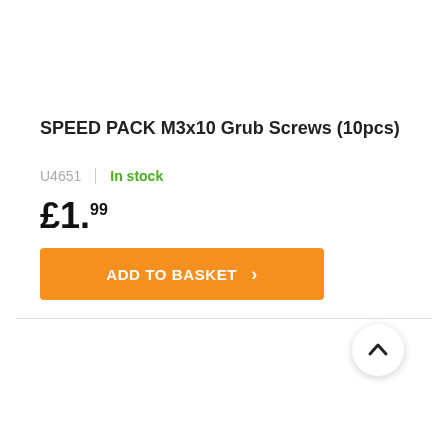SPEED PACK M3x10 Grub Screws (10pcs)
U4651  |  In stock
£1.99
ADD TO BASKET